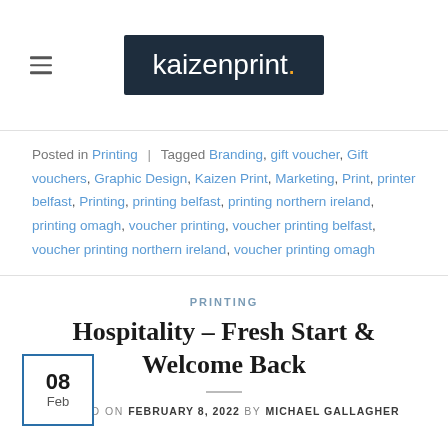[Figure (logo): Kaizenprint logo: white text 'kaizenprint.' on dark navy background, with orange period]
Posted in Printing | Tagged Branding, gift voucher, Gift vouchers, Graphic Design, Kaizen Print, Marketing, Print, printer belfast, Printing, printing belfast, printing northern ireland, printing omagh, voucher printing, voucher printing belfast, voucher printing northern ireland, voucher printing omagh
PRINTING
Hospitality – Fresh Start & Welcome Back
POSTED ON FEBRUARY 8, 2022 BY MICHAEL GALLAGHER
08 Feb